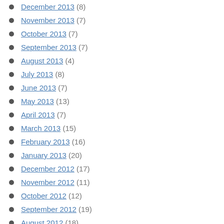December 2013 (8)
November 2013 (7)
October 2013 (7)
September 2013 (7)
August 2013 (4)
July 2013 (8)
June 2013 (7)
May 2013 (13)
April 2013 (7)
March 2013 (15)
February 2013 (16)
January 2013 (20)
December 2012 (17)
November 2012 (11)
October 2012 (12)
September 2012 (19)
August 2012 (18)